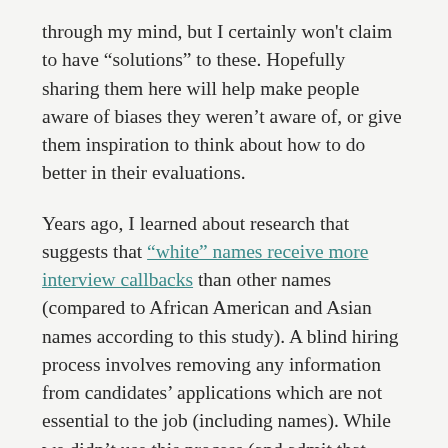through my mind, but I certainly won't claim to have “solutions” to these. Hopefully sharing them here will help make people aware of biases they weren’t aware of, or give them inspiration to think about how to do better in their evaluations.
Years ago, I learned about research that suggests that “white” names receive more interview callbacks than other names (compared to African American and Asian names according to this study). A blind hiring process involves removing any information from candidates’ applications which are not essential to the job (including names). While we didn’t use this process (and admit that